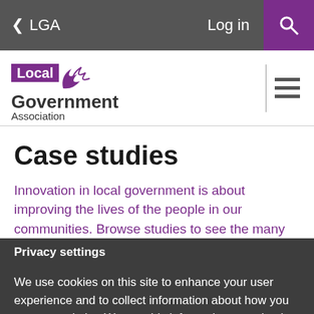< LGA   Log in [Search]
[Figure (logo): Local Government Association logo with purple background and stylized bird icon]
Case studies
Innovation in local government is about improving the lives of the people in our communities. Browse studies to see the many
Privacy settings
We use cookies on this site to enhance your user experience and to collect information about how you use our website. We use this information to make the website work as well as possible and to improve our content. More information
Essential   Analytics   Preference